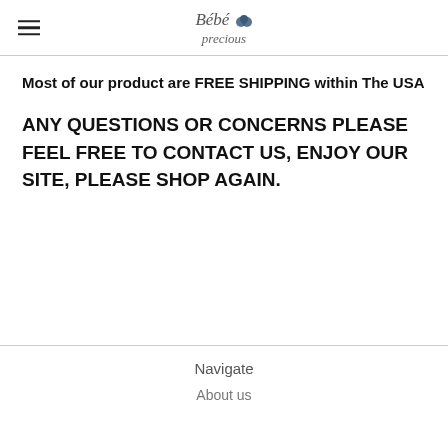Bébé precious
Most of our product are FREE SHIPPING within The USA
ANY QUESTIONS OR CONCERNS PLEASE FEEL FREE TO CONTACT US, ENJOY OUR SITE, PLEASE SHOP AGAIN.
Navigate
About us